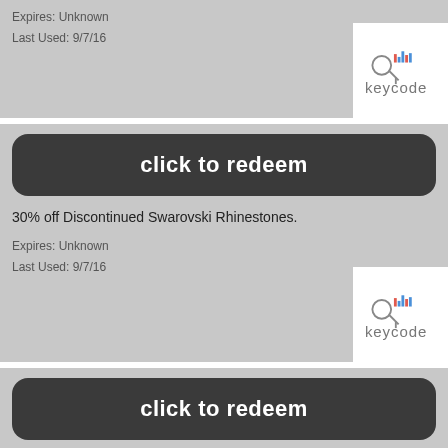Expires: Unknown
Last Used: 9/7/16
[Figure (logo): Keycode logo - circle with bar chart icon above text 'keycode']
[Figure (other): Click to redeem button (dark rounded rectangle)]
30% off Discontinued Swarovski Rhinestones.
Expires: Unknown
Last Used: 9/7/16
[Figure (logo): Keycode logo - circle with bar chart icon above text 'keycode']
[Figure (other): Click to redeem button (dark rounded rectangle)]
50% off Clearance items.